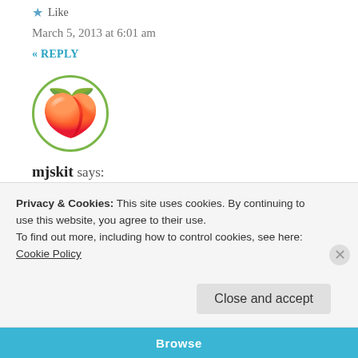★ Like
March 5, 2013 at 6:01 am
« REPLY
[Figure (illustration): Circular avatar icon with a green border containing a peach emoji/illustration]
mjskit says:
You're so funny! Astrophysics, physics, nanoscience – it all makes my head swim but I do like studying it. 🙂 I was wondering how you got
Privacy & Cookies: This site uses cookies. By continuing to use this website, you agree to their use.
To find out more, including how to control cookies, see here:
Cookie Policy
Close and accept